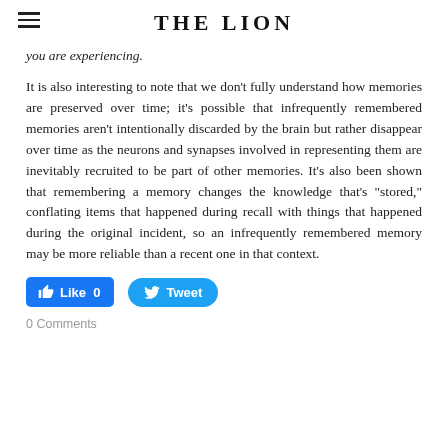THE LION
you are experiencing.
It is also interesting to note that we don't fully understand how memories are preserved over time; it's possible that infrequently remembered memories aren't intentionally discarded by the brain but rather disappear over time as the neurons and synapses involved in representing them are inevitably recruited to be part of other memories. It's also been shown that remembering a memory changes the knowledge that's "stored," conflating items that happened during recall with things that happened during the original incident, so an infrequently remembered memory may be more reliable than a recent one in that context.
Like 0   Tweet
0 Comments